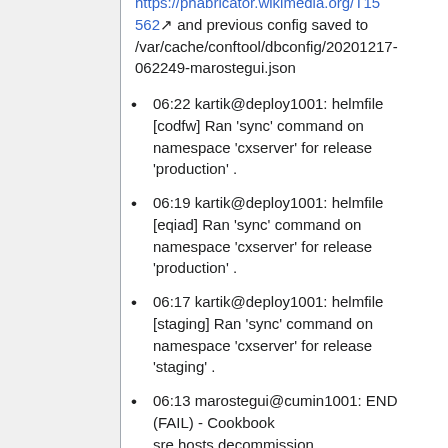https://phabricator.wikimedia.org/T15562 and previous config saved to /var/cache/conftool/dbconfig/20201217-062249-marostegui.json
06:22 kartik@deploy1001: helmfile [codfw] Ran 'sync' command on namespace 'cxserver' for release 'production' .
06:19 kartik@deploy1001: helmfile [eqiad] Ran 'sync' command on namespace 'cxserver' for release 'production' .
06:17 kartik@deploy1001: helmfile [staging] Ran 'sync' command on namespace 'cxserver' for release 'staging' .
06:13 marostegui@cumin1001: END (FAIL) - Cookbook sre.hosts.decommission (exit_code=1)